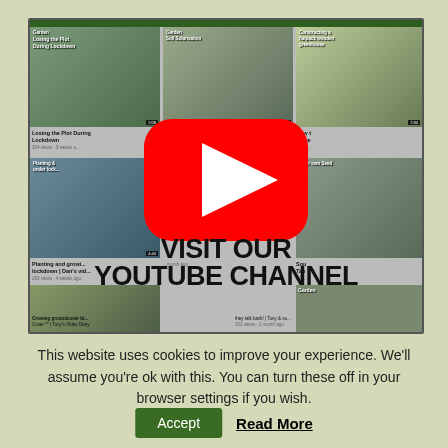[Figure (screenshot): YouTube channel page screenshot with a large red YouTube play button overlay and bold text 'VISIT OUR YOUTUBE CHANNEL'. Shows multiple gardening video thumbnails including 'Losing the Plot During Lockdown', 'Garden Soil Solarisation', 'Constructing a flatpack wooden greenhouse', 'Planting & growing under lockdown', 'Growing groundcover', etc.]
This website uses cookies to improve your experience. We'll assume you're ok with this. You can turn these off in your browser settings if you wish.
Accept
Read More